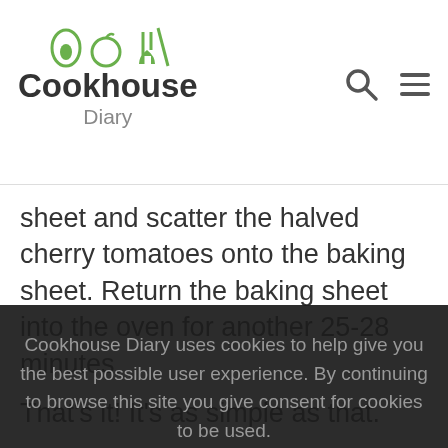Cookhouse Diary
sheet and scatter the halved cherry tomatoes onto the baking sheet. Return the baking sheet into the oven for another 25-28 minutes.
That's it! It's as simple as that.
[Figure (photo): Overhead photo of a baking sheet with sliced sausages, potatoes, cherry tomatoes, and other roasted vegetables]
Cookhouse Diary uses cookies to help give you the best possible user experience. By continuing to browse this site you give consent for cookies to be used.